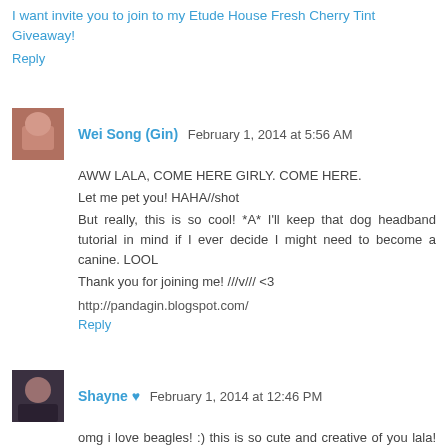I want invite you to join to my Etude House Fresh Cherry Tint Giveaway!
Reply
Wei Song (Gin)  February 1, 2014 at 5:56 AM
AWW LALA, COME HERE GIRLY. COME HERE.
Let me pet you! HAHA//shot
But really, this is so cool! *A* I'll keep that dog headband tutorial in mind if I ever decide I might need to become a canine. LOOL
Thank you for joining me! ///v/// <3

http://pandagin.blogspot.com/
Reply
Shayne ♥  February 1, 2014 at 12:46 PM
omg i love beagles! :) this is so cute and creative of you lala! youre very artistic <3
Reply